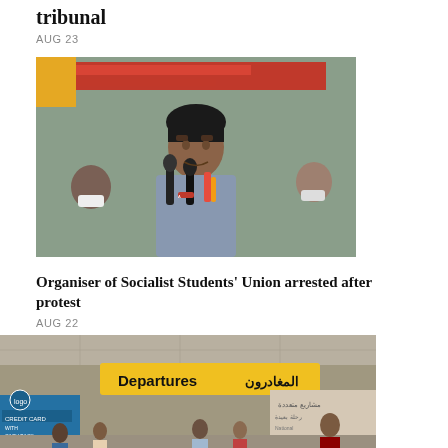tribunal
AUG 23
[Figure (photo): Young man speaking into microphones at a press event, with people wearing masks in the background and a red signboard visible behind them.]
Organiser of Socialist Students' Union arrested after protest
AUG 22
[Figure (photo): Airport departures hall showing a yellow bilingual sign reading 'Departures' in English and Arabic, with people milling around and various travel-related signage in the background.]